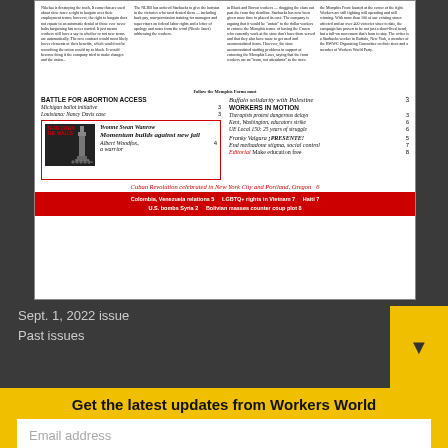[Figure (screenshot): Newspaper front page preview showing Workers World newspaper issue with table of contents, featured articles about abortion access, workers in motion, Cuban Revolution, and international topics in a newspaper layout inside a dark gray frame]
Sept. 1, 2022 issue
Past issues
Get the latest updates from Workers World
Email address
Subscribe